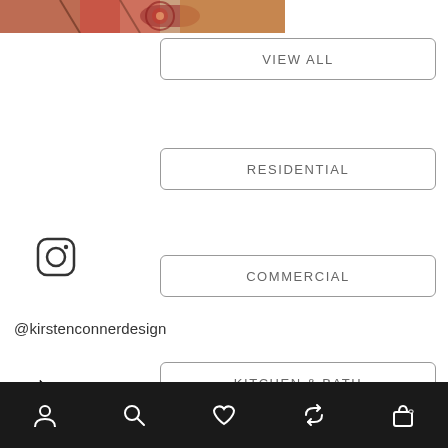[Figure (photo): Partial view of decorative colorful artwork/textile with reds and patterns, cropped at top of page]
VIEW ALL
RESIDENTIAL
[Figure (other): Instagram logo icon (rounded square with circle and dot)]
COMMERCIAL
@kirstenconnerdesign
[Figure (other): Mouse cursor arrow icon]
KITCHEN & BATH
account / search / heart / refresh / bag navigation icons on dark bar